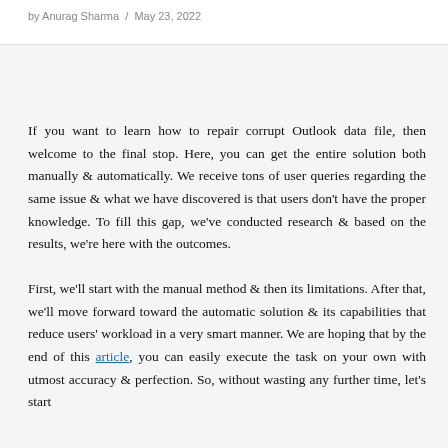by Anurag Sharma  /  May 23, 2022
If you want to learn how to repair corrupt Outlook data file, then welcome to the final stop. Here, you can get the entire solution both manually & automatically. We receive tons of user queries regarding the same issue & what we have discovered is that users don't have the proper knowledge. To fill this gap, we've conducted research & based on the results, we're here with the outcomes.
First, we'll start with the manual method & then its limitations. After that, we'll move forward toward the automatic solution & its capabilities that reduce users' workload in a very smart manner. We are hoping that by the end of this article, you can easily execute the task on your own with utmost accuracy & perfection. So, without wasting any further time, let's start